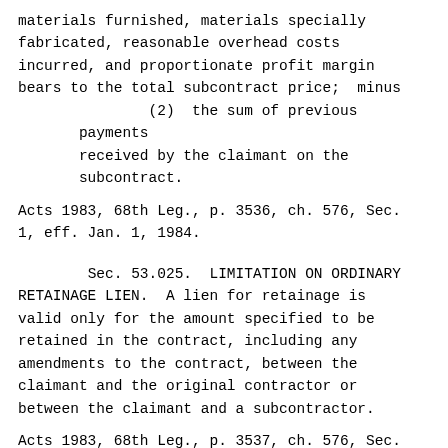materials furnished, materials specially fabricated, reasonable overhead costs incurred, and proportionate profit margin bears to the total subcontract price;  minus
(2)  the sum of previous payments received by the claimant on the subcontract.
Acts 1983, 68th Leg., p. 3536, ch. 576, Sec. 1, eff. Jan. 1, 1984.
Sec. 53.025.  LIMITATION ON ORDINARY RETAINAGE LIEN.  A lien for retainage is valid only for the amount specified to be retained in the contract, including any amendments to the contract, between the claimant and the original contractor or between the claimant and a subcontractor.
Acts 1983, 68th Leg., p. 3537, ch. 576, Sec. 1, eff. Jan. 1, 1984.